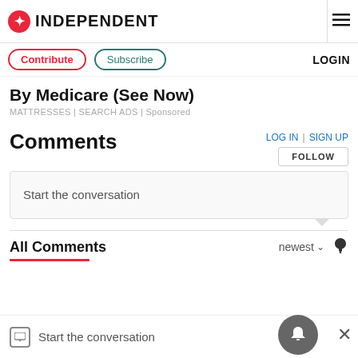INDEPENDENT
Contribute | Subscribe | LOGIN
By Medicare (See Now)
MATTRESSES | SEARCH ADS | Sponsored
Comments
LOG IN | SIGN UP
FOLLOW
Start the conversation
All Comments
newest
Start the conversation